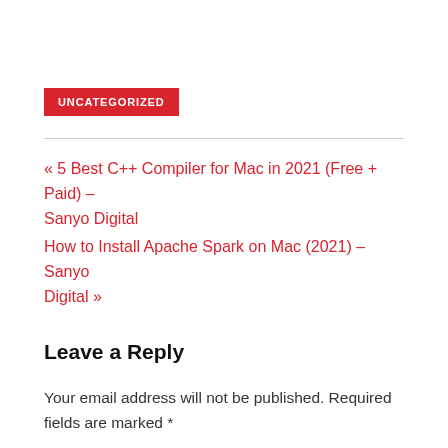UNCATEGORIZED
« 5 Best C++ Compiler for Mac in 2021 (Free + Paid) – Sanyo Digital
How to Install Apache Spark on Mac (2021) – Sanyo Digital »
Leave a Reply
Your email address will not be published. Required fields are marked *
Comment *